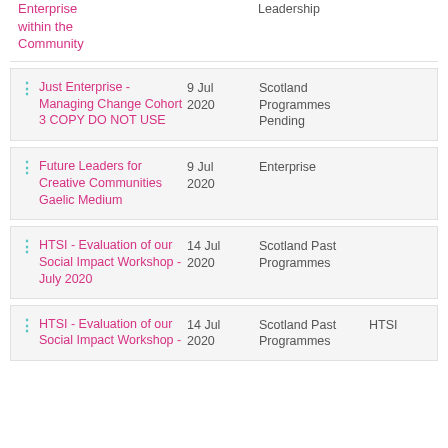Enterprise within the Community | Leadership
Just Enterprise - Managing Change Cohort 3 COPY DO NOT USE | 9 Jul 2020 | Scotland Programmes Pending
Future Leaders for Creative Communities Gaelic Medium | 9 Jul 2020 | Enterprise
HTSI - Evaluation of our Social Impact Workshop - July 2020 | 14 Jul 2020 | Scotland Past Programmes
HTSI - Evaluation of our Social Impact Workshop - | 14 Jul 2020 | Scotland Past Programmes | HTSI